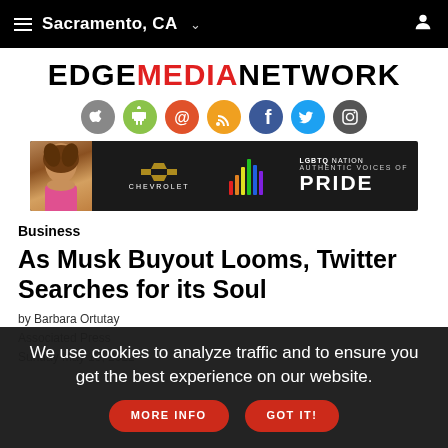≡ Sacramento, CA ∨
EDGEMEDIANETWORK
[Figure (infographic): Social media icon circles: Apple, Android, Email, RSS, Facebook, Twitter, Instagram]
[Figure (infographic): Advertisement banner: Chevrolet - LGBTQ Nation Authentic Voices of Pride]
Business
As Musk Buyout Looms, Twitter Searches for its Soul
by Barbara Ortutay
Associated Press
Sunday May 15, 2022
We use cookies to analyze traffic and to ensure you get the best experience on our website.